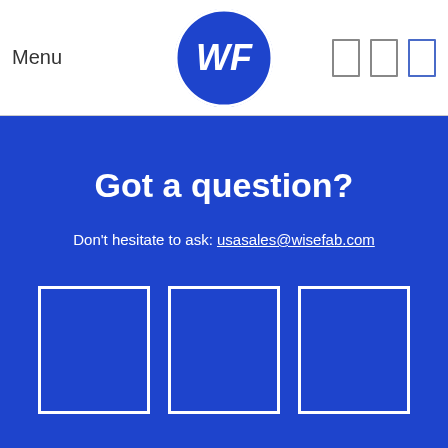Menu
[Figure (logo): Wisefab WF logo circle in blue]
Got a question?
Don't hesitate to ask: usasales@wisefab.com
[Figure (other): Three white-bordered square placeholders for social media icons]
Copyright © 2005 - 2022 Wisefab. All Rights Reserved.